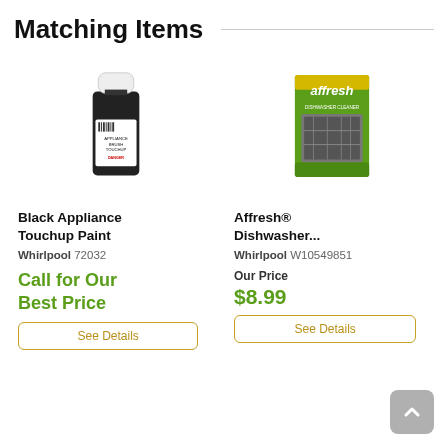Matching Items
[Figure (photo): Black appliance touchup paint bottle (small dark bottle with white cap and label reading APPLIANCE BRUSH TOUCHUP, DANGER)]
Black Appliance Touchup Paint
Whirlpool 72032
Call for Our Best Price
See Details
[Figure (photo): Affresh dishwasher cleaner green box with image of dishwasher interior]
Affresh® Dishwasher...
Whirlpool W10549851
Our Price
$8.99
See Details